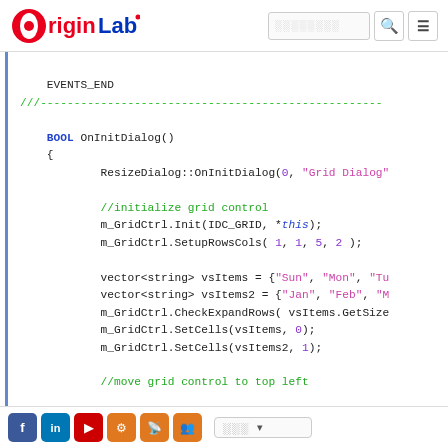OriginLab [logo/header with search]
EVENTS_END
///----...----
BOOL OnInitDialog()
{
    ResizeDialog::OnInitDialog(0, "Grid Dialog"

    //initialize grid control
    m_GridCtrl.Init(IDC_GRID, *this);
    m_GridCtrl.SetupRowsCols( 1, 1, 5, 2 );

    vector<string> vsItems = {"Sun", "Mon", "Tu...
    vector<string> vsItems2 = {"Jan", "Feb", "M...
    m_GridCtrl.CheckExpandRows( vsItems.GetSize...
    m_GridCtrl.SetCells(vsItems, 0);
    m_GridCtrl.SetCells(vsItems2, 1);

    //move grid control to top left...
Social icons: Facebook, LinkedIn, YouTube, Settings, RSS, Group | Language selector